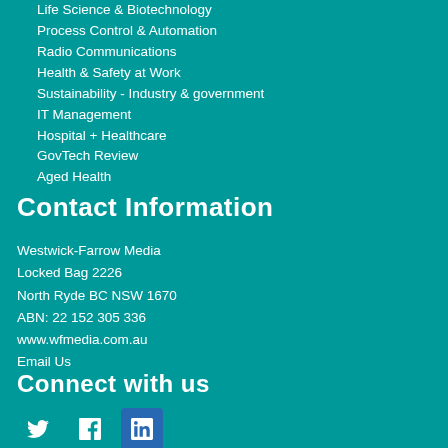Life Science & Biotechnology
Process Control & Automation
Radio Communications
Health & Safety at Work
Sustainability - Industry & government
IT Management
Hospital + Healthcare
GovTech Review
Aged Health
Contact Information
Westwick-Farrow Media
Locked Bag 2226
North Ryde BC NSW 1670
ABN: 22 152 305 336
www.wfmedia.com.au
Email Us
Connect with us